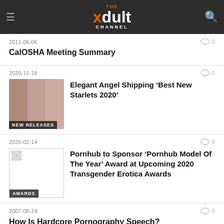THE xdult CHANNEL
2011-06-06
CalOSHA Meeting Summary
2020-11-18
[Figure (photo): NEW RELEASES badge over photo of women]
Elegant Angel Shipping ‘Best New Starlets 2020’
2020-02-14
[Figure (photo): Broken image placeholder with AWARDS badge]
Pornhub to Sponsor ‘Pornhub Model Of The Year’ Award at Upcoming 2020 Transgender Erotica Awards
2007-08-14
How Is Hardcore Pornography Speech?
2007-07-10